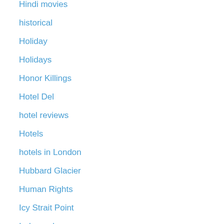Hindi movies
historical
Holiday
Holidays
Honor Killings
Hotel Del
hotel reviews
Hotels
hotels in London
Hubbard Glacier
Human Rights
Icy Strait Point
Independence
India
Indian Cruises
Indian Dance
Indian Independence Day
Indian Independence Day in Los Angeles video
Indian Parties
Italy